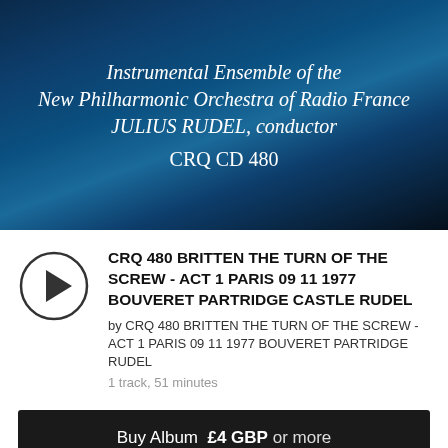[Figure (photo): Dark blue/black background with abstract swirling shapes, serving as album art header]
Instrumental Ensemble of the New Philharmonic Orchestra of Radio France JULIUS RUDEL, conductor CRQ CD 480
CRQ 480 BRITTEN THE TURN OF THE SCREW - ACT 1 PARIS 09 11 1977 BOUVERET PARTRIDGE CASTLE RUDEL
by CRQ 480 BRITTEN THE TURN OF THE SCREW - ACT 1 PARIS 09 11 1977 BOUVERET PARTRIDGE RUDEL
1 track, 51 minutes
Buy Album  £4 GBP or more
Send as gift